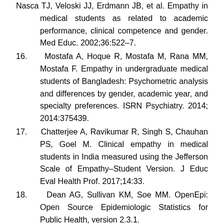Nasca TJ, Veloski JJ, Erdmann JB, et al. Empathy in medical students as related to academic performance, clinical competence and gender. Med Educ. 2002;36:522–7.
16. Mostafa A, Hoque R, Mostafa M, Rana MM, Mostafa F. Empathy in undergraduate medical students of Bangladesh: Psychometric analysis and differences by gender, academic year, and specialty preferences. ISRN Psychiatry. 2014; 2014:375439.
17. Chatterjee A, Ravikumar R, Singh S, Chauhan PS, Goel M. Clinical empathy in medical students in India measured using the Jefferson Scale of Empathy–Student Version. J Educ Eval Health Prof. 2017;14:33.
18. Dean AG, Sullivan KM, Soe MM. OpenEpi: Open Source Epidemiologic Statistics for Public Health, version 2.3.1.